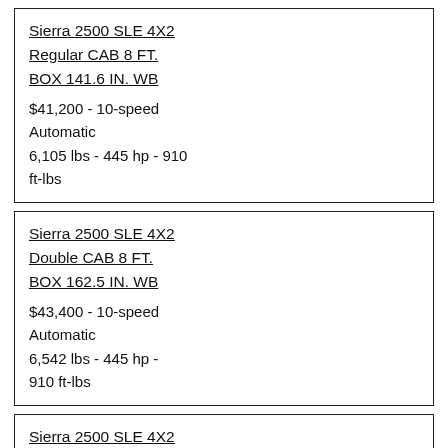Sierra 2500 SLE 4X2 Regular CAB 8 FT. BOX 141.6 IN. WB
$41,200 - 10-speed Automatic
6,105 lbs - 445 hp - 910 ft-lbs
Sierra 2500 SLE 4X2 Double CAB 8 FT. BOX 162.5 IN. WB
$43,400 - 10-speed Automatic
6,542 lbs - 445 hp - 910 ft-lbs
Sierra 2500 SLE 4X2